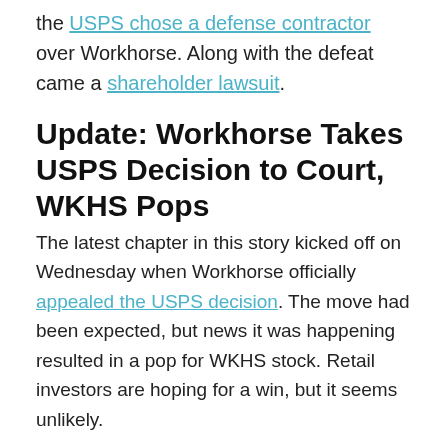the USPS chose a defense contractor over Workhorse. Along with the defeat came a shareholder lawsuit.
Update: Workhorse Takes USPS Decision to Court, WKHS Pops
The latest chapter in this story kicked off on Wednesday when Workhorse officially appealed the USPS decision. The move had been expected, but news it was happening resulted in a pop for WKHS stock. Retail investors are hoping for a win, but it seems unlikely.
Interviewed in Bloomberg, a legal expert explained USPS contract reviews usually favor the original winner, noting: "'These internal dispute resolution processes don't really bring the relief' that contract losers seek."
Focus on Long-Term Prospects